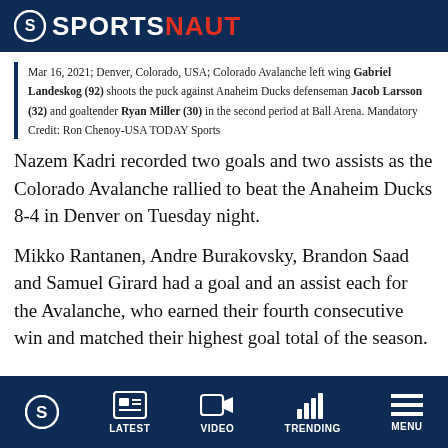SPORTSNAUT
Mar 16, 2021; Denver, Colorado, USA; Colorado Avalanche left wing Gabriel Landeskog (92) shoots the puck against Anaheim Ducks defenseman Jacob Larsson (32) and goaltender Ryan Miller (30) in the second period at Ball Arena. Mandatory Credit: Ron Chenoy-USA TODAY Sports
Nazem Kadri recorded two goals and two assists as the Colorado Avalanche rallied to beat the Anaheim Ducks 8-4 in Denver on Tuesday night.
Mikko Rantanen, Andre Burakovsky, Brandon Saad and Samuel Girard had a goal and an assist each for the Avalanche, who earned their fourth consecutive win and matched their highest goal total of the season.
LATEST | VIDEO | TRENDING | MENU